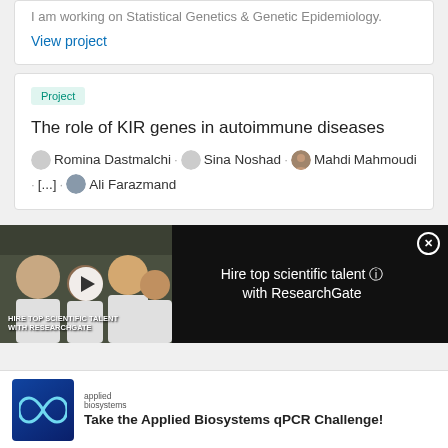I am working on Statistical Genetics & Genetic Epidemiology.
View project
Project
The role of KIR genes in autoimmune diseases
Romina Dastmalchi · Sina Noshad · Mahdi Mahmoudi · [...] · Ali Farazmand
[Figure (screenshot): Video ad overlay: people in lab coats selfie, 'Hire top scientific talent with ResearchGate' text, play button, close button]
[Figure (logo): Applied Biosystems logo with infinity symbol on blue background]
Take the Applied Biosystems qPCR Challenge!